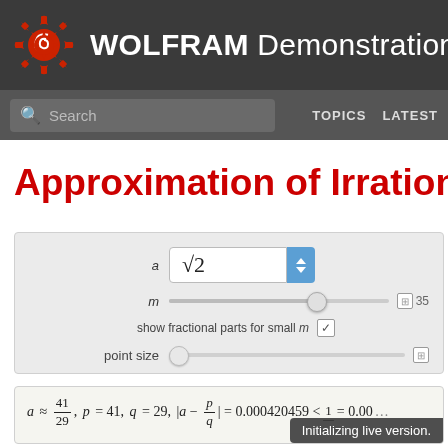WOLFRAM Demonstrations Pr
Search | TOPICS | LATEST
Approximation of Irrational
[Figure (screenshot): Interactive controls panel with: input field showing sqrt(2) with blue spinner button, slider for m with value 35, checkbox for 'show fractional parts for small m', and point size slider]
Initializing live version.